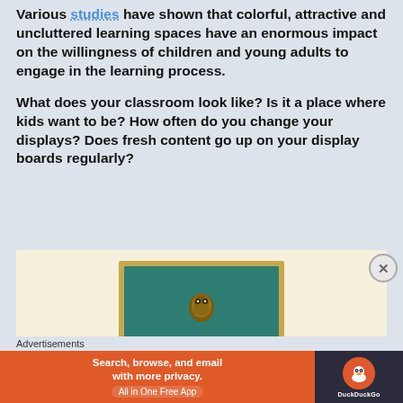Various studies have shown that colorful, attractive and uncluttered learning spaces have an enormous impact on the willingness of children and young adults to engage in the learning process.
What does your classroom look like? Is it a place where kids want to be? How often do you change your displays? Does fresh content go up on your display boards regularly?
[Figure (illustration): Illustration of a chalkboard with a brownish-gold frame on a cream/beige background, with a circular emblem/owl figure visible on the chalkboard surface]
Advertisements
[Figure (screenshot): DuckDuckGo advertisement banner: orange left section with text 'Search, browse, and email with more privacy. All in One Free App', dark right section with DuckDuckGo duck logo]